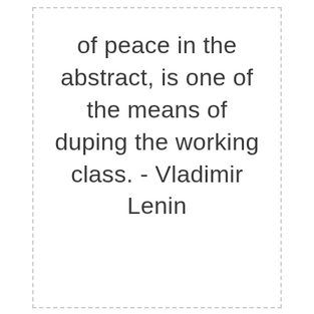of peace in the abstract, is one of the means of duping the working class. - Vladimir Lenin